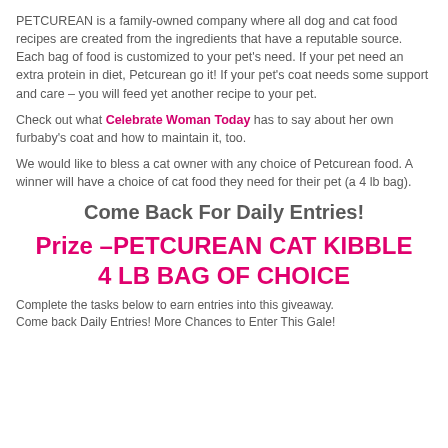PETCUREAN is a family-owned company where all dog and cat food recipes are created from the ingredients that have a reputable source. Each bag of food is customized to your pet's need. If your pet need an extra protein in diet, Petcurean go it! If your pet's coat needs some support and care – you will feed yet another recipe to your pet.
Check out what Celebrate Woman Today has to say about her own furbaby's coat and how to maintain it, too.
We would like to bless a cat owner with any choice of Petcurean food. A winner will have a choice of cat food they need for their pet (a 4 lb bag).
Come Back For Daily Entries!
Prize –PETCUREAN CAT KIBBLE 4 LB BAG OF CHOICE
Complete the tasks below to earn entries into this giveaway. Come back Daily Entries! More Chances to Enter This Gale!